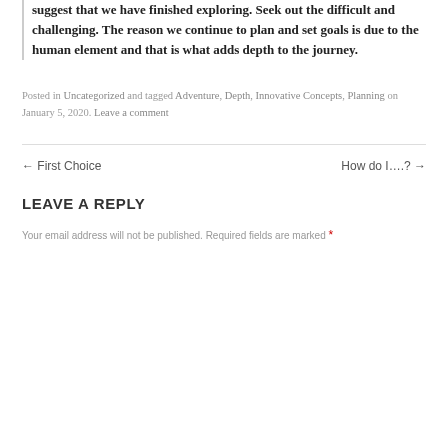suggest that we have finished exploring. Seek out the difficult and challenging. The reason we continue to plan and set goals is due to the human element and that is what adds depth to the journey.
Posted in Uncategorized and tagged Adventure, Depth, Innovative Concepts, Planning on January 5, 2020. Leave a comment
← First Choice
How do I….? →
LEAVE A REPLY
Your email address will not be published. Required fields are marked *